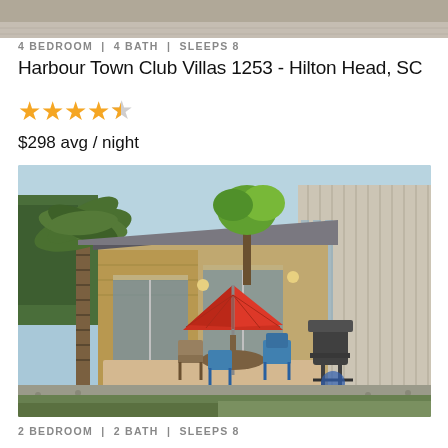[Figure (photo): Top portion of a vacation rental property exterior photo, cropped to show only the upper section]
4 BEDROOM | 4 BATH | SLEEPS 8
Harbour Town Club Villas 1253 - Hilton Head, SC
[Figure (other): 4.5 star rating shown as yellow stars]
$298 avg / night
[Figure (photo): Exterior photo of a vacation rental villa showing a back patio/deck with a red patio umbrella, outdoor dining furniture including chairs, a grill, a palm tree on the left, and beige siding on the house]
2 BEDROOM | 2 BATH | SLEEPS 8